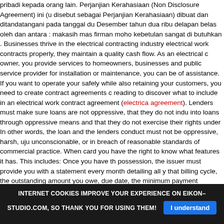pribadi kepada orang lain. Perjanjian Kerahasiaan (Non Disclosure Agreement) ini (u disebut sebagai Perjanjian Kerahasiaan) dibuat dan ditandatangani pada tanggal du Desember tahun dua ribu delapan belas oleh dan antara : makasih mas firman moho kebetulan sangat di butuhkan . Businesses thrive in the electrical contracting industry electrical work contracts properly, they maintain a quality cash flow. As an electrical c owner, you provide services to homeowners, businesses and public service provider for installation or maintenance, you can be of assistance. If you want to operate your safely while also retaining your customers, you need to create contract agreements c reading to discover what to include in an electrical work contract agreement (electrical agreement). Lenders must make sure loans are not oppressive, that they do not indu into loans through oppressive means and that they do not exercise their rights under In other words, the loan and the lenders conduct must not be oppressive, harsh, uju unconscionable, or in breach of reasonable standards of commercial practice. When card you have the right to know what features it has. This includes: Once you have th possession, the issuer must provide you with a statement every month detailing all y that billing cycle, the outstanding amount you owe, due date, the minimum payment estimation of how long it will take you to pay off your balance if you choose to pay th only (agreement). This Agreement and the interpretation of its terms shall be governe accordance with the laws of the State of [State] and subject to the exclusive jurisdicti state courts located in [County], [State]. WHEREAS, the Company and the Agent des agreement whereby the Agent will market and sell the Product according to the terms herein. The Agent agrees and acknowledges the following with regard to the Compar
INTERNET COOKIES IMPROVE YOUR EXPERIENCE ON EIKON-STUDIO.COM, SO THANK YOU FOR USING THEM! I understand